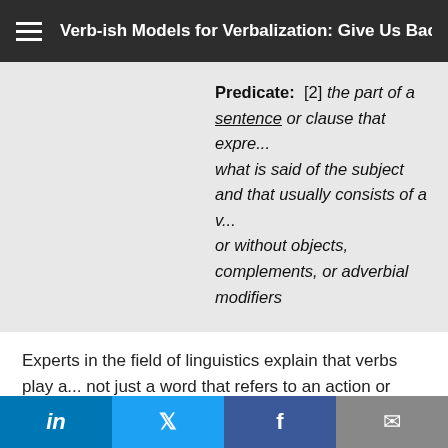Verb-ish Models for Verbalization: Give Us Back Our Verbs! (G...
Predicate: [2] the part of a sentence or clause that expresses what is said of the subject and that usually consists of a v... or without objects, complements, or adverbial modifiers
Experts in the field of linguistics explain that verbs play a... not just a word that refers to an action or state but the ch... be bolted onto." Without verbs, literally there are no sen...
Sentences are how you communicate effectively. Senten... sentence. In general, all business communication and ma... looking at things that way, it becomes obvious that verbs...
Let's take a closer look. Without going too deep into phi... verb as designating some action. But you can also think o... place' as in a customer placing an order. You can look at'